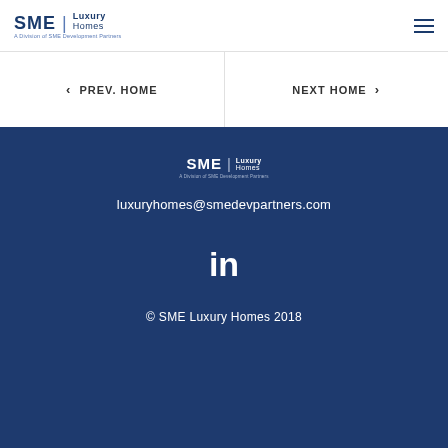SME Luxury Homes — A Division of SME Development Partners
‹ Prev. Home
Next Home ›
[Figure (logo): SME Luxury Homes logo — white version in footer]
luxuryhomes@smedevpartners.com
[Figure (logo): LinkedIn icon]
© SME Luxury Homes 2018